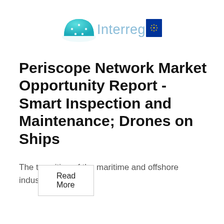[Figure (logo): Interreg logo with teal dome/globe icon on the left and EU flag (blue rectangle with yellow stars) on the right, with the word 'Interreg' in light blue text in the center]
Periscope Network Market Opportunity Report - Smart Inspection and Maintenance; Drones on Ships
The transition of the maritime and offshore industries toward a
Read More